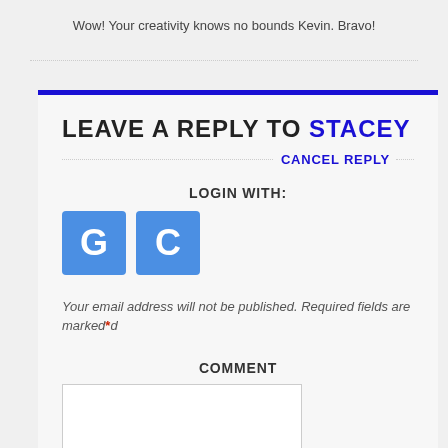Wow! Your creativity knows no bounds Kevin. Bravo!
LEAVE A REPLY TO STACEY
CANCEL REPLY
LOGIN WITH:
[Figure (logo): Two blue square login buttons with letters G and C]
Your email address will not be published. Required fields are marked*
COMMENT